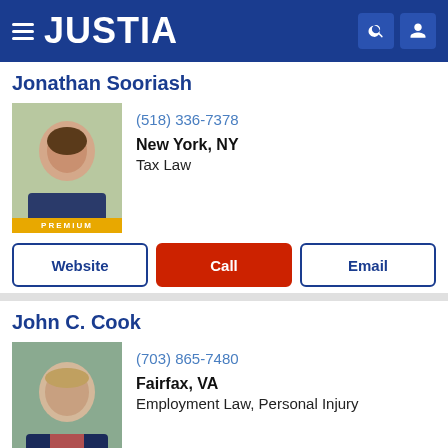JUSTIA
Jonathan Sooriash
(518) 336-7378
New York, NY
Tax Law
Website | Call | Email
John C. Cook
(703) 865-7480
Fairfax, VA
Employment Law, Personal Injury
Website | Call | Email